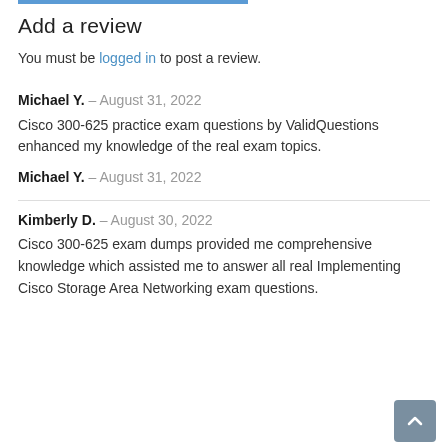Add a review
You must be logged in to post a review.
Michael Y. – August 31, 2022
Cisco 300-625 practice exam questions by ValidQuestions enhanced my knowledge of the real exam topics.
Michael Y. – August 31, 2022
Kimberly D. – August 30, 2022
Cisco 300-625 exam dumps provided me comprehensive knowledge which assisted me to answer all real Implementing Cisco Storage Area Networking exam questions.